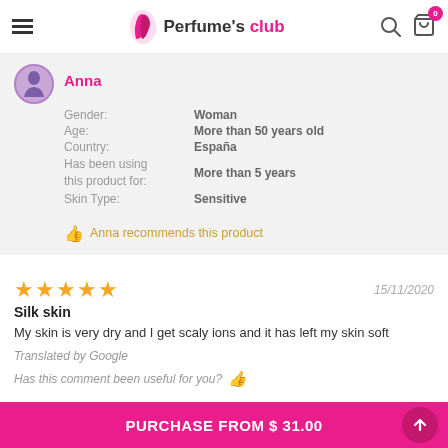Perfume's club
Anna
Gender: Woman
Age: More than 50 years old
Country: España
Has been using this product for: More than 5 years
Skin Type: Sensitive
Anna recommends this product
★★★★★  15/11/2020
Silk skin
My skin is very dry and I get scaly ions and it has left my skin soft
Translated by Google
Has this comment been useful for you?
PURCHASE FROM $ 31.00